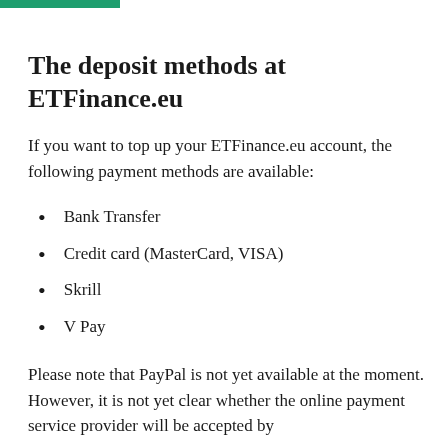The deposit methods at ETFinance.eu
If you want to top up your ETFinance.eu account, the following payment methods are available:
Bank Transfer
Credit card (MasterCard, VISA)
Skrill
V Pay
Please note that PayPal is not yet available at the moment. However, it is not yet clear whether the online payment service provider will be accepted by